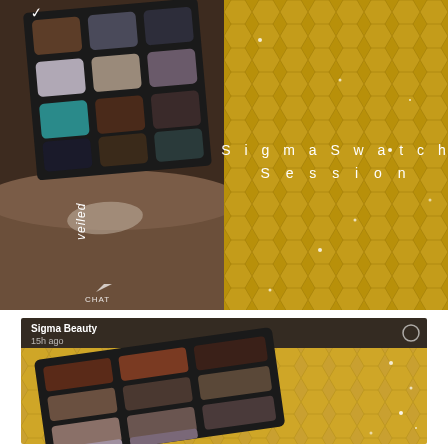[Figure (photo): Two-panel Snapchat screenshot. Left panel shows a makeup eyeshadow palette (12 shades in grid) with a forearm swatch showing a shade called 'veiled'. Right panel shows a gold geometric hexagon pattern background with text 'SigmaSwatch Session' in white spaced letters. Both panels have 'CHAT' buttons at the bottom.]
[Figure (screenshot): Snapchat story screenshot from Sigma Beauty posted 15h ago, showing an eyeshadow palette with 12 shades (browns, taupes, mauves) arranged in a 3x4 grid on a gold sparkle background.]